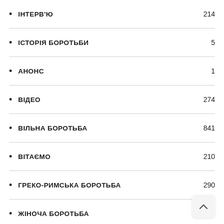ІНТЕРВ'Ю  214
ІСТОРІЯ БОРОТЬБИ  5
АНОНС  1
ВІДЕО  274
ВІЛЬНА БОРОТЬБА  841
ВІТАЄМО  210
ГРЕКО-РИМСЬКА БОРОТЬБА  290
ЖІНОЧА БОРОТЬБА  749
ЗАГАЛЬНІ  269
ПЛЯЖНА БОРОТЬБА
ПОЛОЖЕННЯ ЗМАГАНЬ